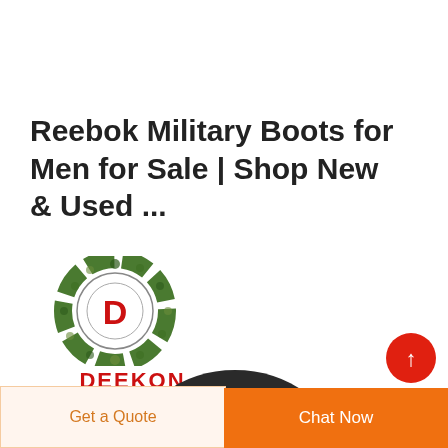Reebok Military Boots for Men for Sale | Shop New & Used ...
[Figure (logo): DEEKON brand logo — circular camouflage-pattern ring with a red letter D in the center, and the text DEEKON in red below]
[Figure (photo): Partial view of a dark military-style helmet, cropped at the bottom of the page]
Get a Quote
Chat Now